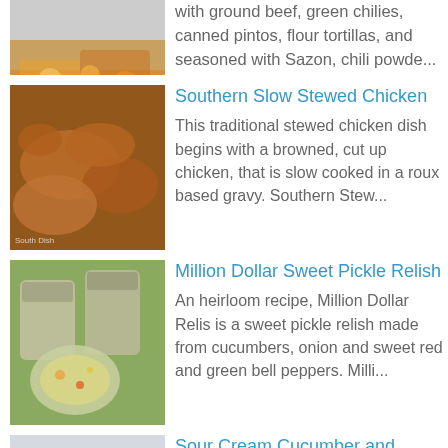[Figure (photo): Partial view of a cheesy casserole dish with ground beef topping]
with ground beef, green chilies, canned pintos, flour tortillas, and seasoned with Sazon, chili powde...
[Figure (photo): Fried chicken pieces on a plate]
Southern Slow Stewed Chicken
This traditional stewed chicken dish begins with a browned, cut up chicken, that is slow cooked in a roux based gravy. Southern Stew...
[Figure (photo): Jars of pickle relish and a bowl of relish]
Million Dollar Sweet Pickle Relish
An heirloom recipe, Million Dollar Relish is a sweet pickle relish made from cucumbers, onion and sweet red and green bell peppers. Milli...
[Figure (photo): Sliced cucumbers and onions in a creamy dressing]
Sour Cream Cucumber and Onion Salad
A cucumber and sweet Vidalia onion salad, dressed with a vinegar and sour cream dill dressing. Sour Cream Cucumber and Onion Salad Th...